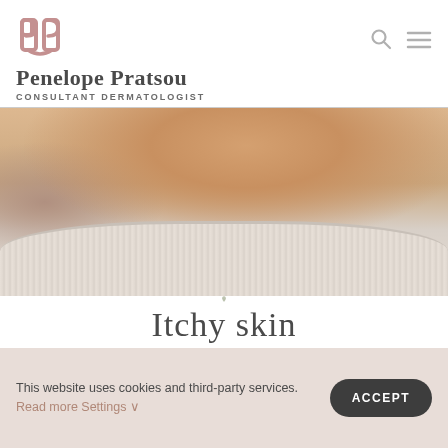Penelope Pratsou — CONSULTANT DERMATOLOGIST
[Figure (photo): Close-up photo of a person's neck and shoulder area, showing bare skin above a cream/beige ribbed fabric collar, suggesting a skin condition context]
Itchy skin
This website uses cookies and third-party services. Read more Settings ∨
ACCEPT